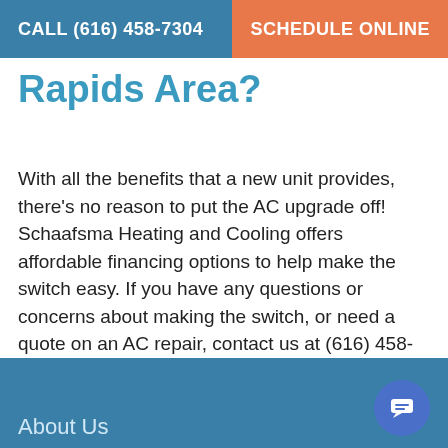CALL (616) 458-7304   SCHEDULE ONLINE
Rapids Area?
With all the benefits that a new unit provides, there's no reason to put the AC upgrade off! Schaafsma Heating and Cooling offers affordable financing options to help make the switch easy. If you have any questions or concerns about making the switch, or need a quote on an AC repair, contact us at (616) 458-7304.
About Us